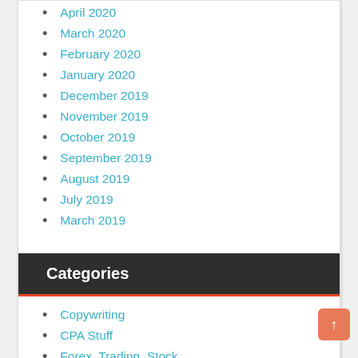April 2020
March 2020
February 2020
January 2020
December 2019
November 2019
October 2019
September 2019
August 2019
July 2019
March 2019
Categories
Copywriting
CPA Stuff
Forex, Trading, Stock
FREE DOWNLOAD